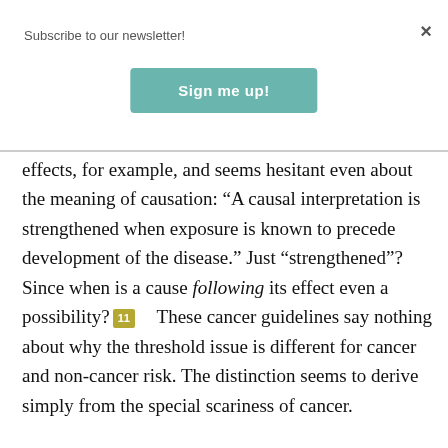Subscribe to our newsletter!
[Figure (other): Teal 'Sign me up!' button for newsletter subscription]
effects, for example, and seems hesitant even about the meaning of causation: “A causal interpretation is strengthened when exposure is known to precede development of the disease.” Just “strengthened”? Since when is a cause following its effect even a possibility?¹¹ These cancer guidelines say nothing about why the threshold issue is different for cancer and non-cancer risk. The distinction seems to derive simply from the special scariness of cancer.